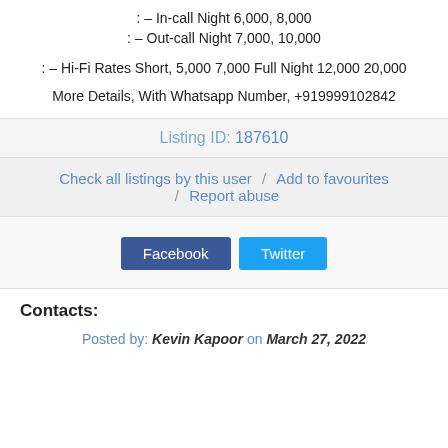: – In-call Night 6,000, 8,000
: – Out-call Night 7,000, 10,000
: – Hi-Fi Rates Short, 5,000 7,000 Full Night 12,000 20,000
More Details, With Whatsapp Number, +919999102842
Listing ID: 187610
Check all listings by this user / Add to favourites / Report abuse
[Figure (other): Facebook and Twitter social share buttons]
Contacts:
Posted by: Kevin Kapoor on March 27, 2022